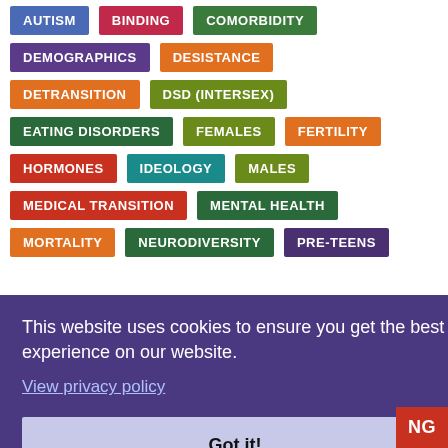AUTISM
BINDING
COMORBIDITY
DEMOGRAPHICS
DESISTANCE
DETRANSITION
DSD (INTERSEX)
EATING DISORDERS
FEMALES
FERTILITY
HORMONES
IDEOLOGY
MALES
MEDICAL TRANSITION
MENTAL HEALTH
MORTALITY
NEURODIVERSITY
PRE-TEENS
This website uses cookies to ensure you get the best experience on our website.
View privacy policy
Got it!
NG